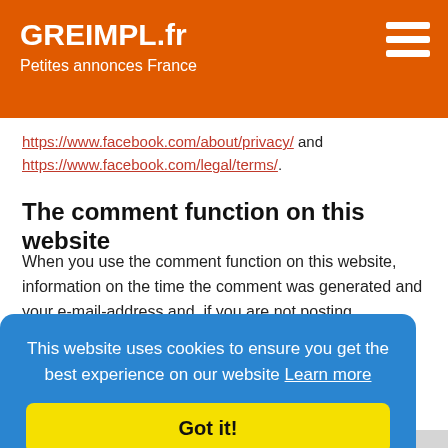GREIMPL.fr
Petites annonces France
https://www.facebook.com/about/privacy/ and https://www.facebook.com/legal/terms/.
The comment function on this website
When you use the comment function on this website, information on the time the comment was generated and your e-mail-address and, if you are not posting anonymously, the username you have selected will be archived in addition to your comments.
This website uses cookies to ensure you get the best experience on our website Learn more
Got it!
event of rights violations, such as defamation or